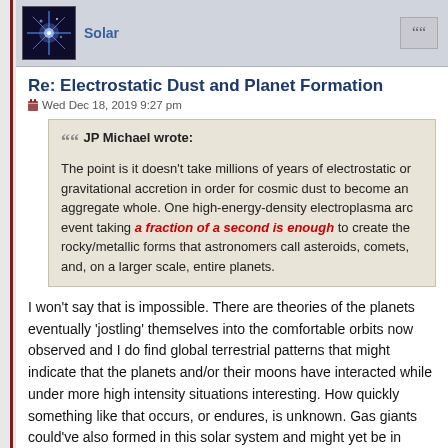Solar
Re: Electrostatic Dust and Planet Formation
Wed Dec 18, 2019 9:27 pm
JP Michael wrote:
The point is it doesn't take millions of years of electrostatic or gravitational accretion in order for cosmic dust to become an aggregate whole. One high-energy-density electroplasma arc event taking a fraction of a second is enough to create the rocky/metallic forms that astronomers call asteroids, comets, and, on a larger scale, entire planets.
I won't say that is impossible. There are theories of the planets eventually 'jostling' themselves into the comfortable orbits now observed and I do find global terrestrial patterns that might indicate that the planets and/or their moons have interacted while under more high intensity situations interesting. How quickly something like that occurs, or endures, is unknown. Gas giants could've also formed in this solar system and might yet be in some critical phase of their evolution. I like to keep the door open.
I'll share this thought residing in the back of my mind though: One of my